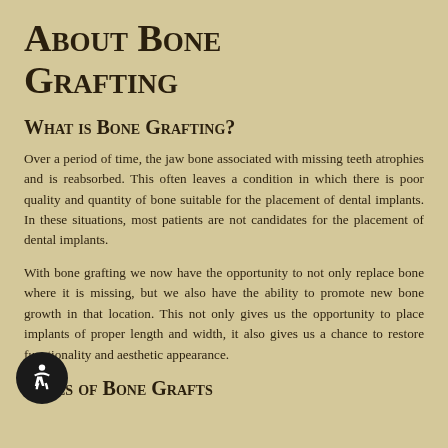About Bone Grafting
What is Bone Grafting?
Over a period of time, the jaw bone associated with missing teeth atrophies and is reabsorbed. This often leaves a condition in which there is poor quality and quantity of bone suitable for the placement of dental implants. In these situations, most patients are not candidates for the placement of dental implants.
With bone grafting we now have the opportunity to not only replace bone where it is missing, but we also have the ability to promote new bone growth in that location. This not only gives us the opportunity to place implants of proper length and width, it also gives us a chance to restore functionality and aesthetic appearance.
Types of Bone Grafts